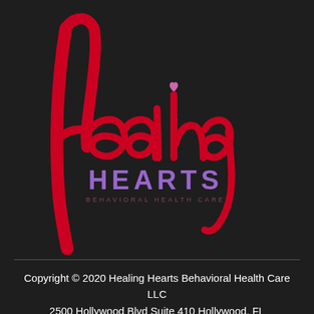[Figure (logo): Healing Hearts Behavioral Health Care logo on dark background. Large red cursive 'Healing' script above bold purple/lavender 'HEARTS' text with smaller red 'BEHAVIORAL HEALTH CARE' subtitle. A small pink heart dot appears in the cursive lettering.]
Copyright © 2020 Healing Hearts Behavioral Health Care LLC
2500 Hollywood Blvd Suite 410 Hollywood, FL 33020 – (754) 777-6871